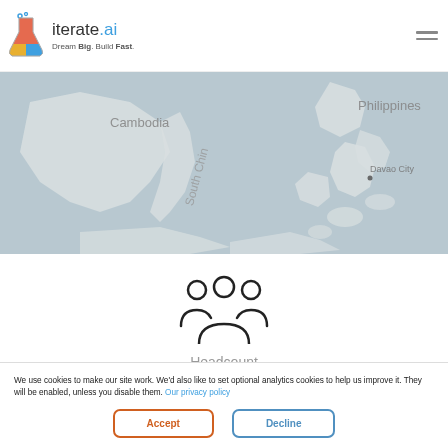iterate.ai – Dream Big. Build Fast.
[Figure (map): Map showing Southeast Asia region including Cambodia and Philippines, with South China Sea labeled. Davao City marked with a dot in Philippines.]
[Figure (illustration): Group/team icon (three people silhouettes)]
Headcount
106,553
We use cookies to make our site work. We'd also like to set optional analytics cookies to help us improve it. They will be enabled, unless you disable them. Our privacy policy
Accept
Decline